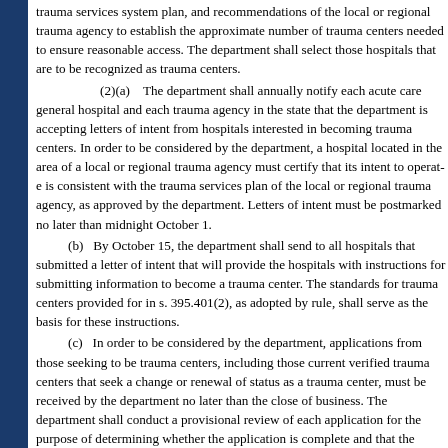trauma services system plan, and recommendations of the local or regional trauma agency to establish the approximate number of trauma centers needed to ensure reasonable access. The department shall select those hospitals that are to be recognized as trauma centers.
(2)(a)    The department shall annually notify each acute care general hospital and each trauma agency in the state that the department is accepting letters of intent from hospitals interested in becoming trauma centers. In order to be considered by the department, a hospital located in the area of a local or regional trauma agency must certify that its intent to operate is consistent with the trauma services plan of the local or regional trauma agency, as approved by the department. Letters of intent must be postmarked no later than midnight October 1.
(b)    By October 15, the department shall send to all hospitals that submitted a letter of intent that will provide the hospitals with instructions for submitting information to become a trauma center. The standards for trauma centers provided for in s. 395.401(2), as adopted by rule, shall serve as the basis for these instructions.
(c)    In order to be considered by the department, applications from those seeking to be trauma centers, including those current verified trauma centers that seek a change or renewal of status as a trauma center, must be received by the department no later than the close of business. The department shall conduct a provisional review of each application for the purpose of determining whether the application is complete and that the hospital has the critical elements required for a trauma center. The review shall be based on trauma center standards and shall include, but not be limited to, a review of:
Equipment and physical facilities necessary to provide trauma services.
Personnel in sufficient numbers and with proper qualifications to provide trauma services.
An effective quality assurance process.
Submitted written confirmation by the local or regional trauma agency.